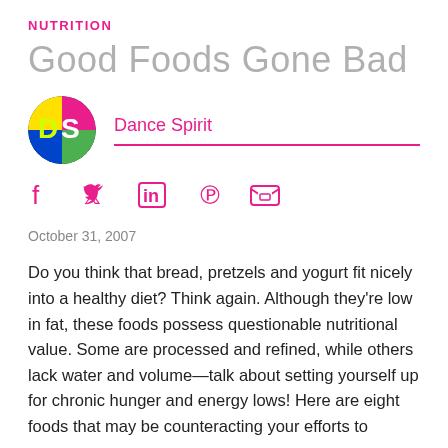NUTRITION
Good Foods Gone Bad
[Figure (logo): Dance Spirit magazine circular logo with colorful DS letters on dark background]
Dance Spirit
[Figure (infographic): Social media sharing icons: Facebook, Twitter, LinkedIn, Pinterest, Email]
October 31, 2007
Do you think that bread, pretzels and yogurt fit nicely into a healthy diet? Think again. Although they’re low in fat, these foods possess questionable nutritional value. Some are processed and refined, while others lack water and volume—talk about setting yourself up for chronic hunger and energy lows! Here are eight foods that may be counteracting your efforts to